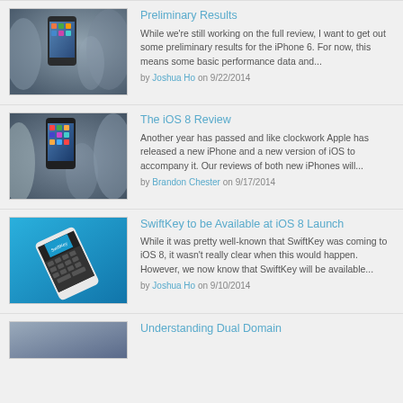Preliminary Results
While we're still working on the full review, I want to get out some preliminary results for the iPhone 6. For now, this means some basic performance data and...
by Joshua Ho on 9/22/2014
The iOS 8 Review
Another year has passed and like clockwork Apple has released a new iPhone and a new version of iOS to accompany it. Our reviews of both new iPhones will...
by Brandon Chester on 9/17/2014
SwiftKey to be Available at iOS 8 Launch
While it was pretty well-known that SwiftKey was coming to iOS 8, it wasn't really clear when this would happen. However, we now know that SwiftKey will be available...
by Joshua Ho on 9/10/2014
Understanding Dual Domain